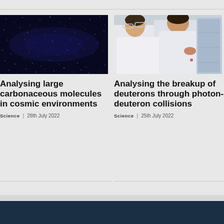[Figure (photo): Dark night sky with stars - cosmic/space background]
Analysing large carbonaceous molecules in cosmic environments
Science | 28th July 2022
[Figure (photo): Two scientists in white lab coats and safety glasses examining an X-ray or scan]
Analysing the breakup of deuterons through photon-deuteron collisions
Science | 25th July 2022